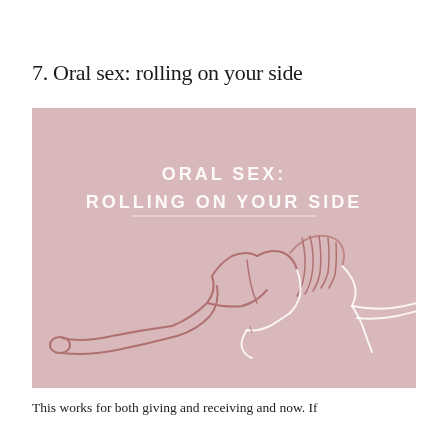7. Oral sex: rolling on your side
[Figure (illustration): Pink-background illustration showing two figures lying on their sides in an oral sex position. White outlined text reads 'ORAL SEX: ROLLING ON YOUR SIDE' in bold sans-serif capitals at the top of the image. The figures are drawn in line-art style with a dusty rose/mauve color on the pink background.]
This works for both giving and receiving and now. If